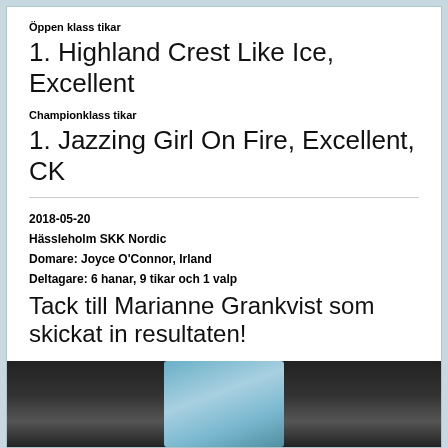Öppen klass tikar
1. Highland Crest Like Ice, Excellent
Championklass tikar
1. Jazzing Girl On Fire, Excellent, CK
2018-05-20
Hässleholm SKK Nordic
Domare: Joyce O'Connor, Irland
Deltagare: 6 hanar, 9 tikar och 1 valp
Tack till Marianne Grankvist som skickat in resultaten!
[Figure (photo): A person wearing a blue outfit photographed at an outdoor event.]